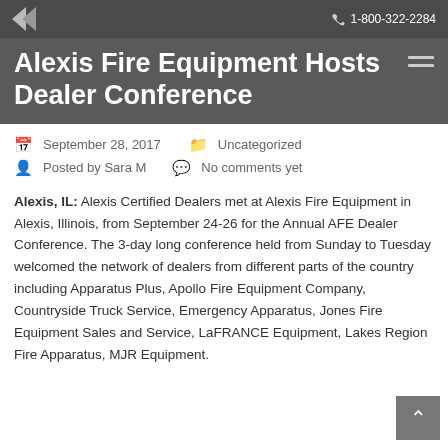1-800-322-2284
Alexis Fire Equipment Hosts Dealer Conference
September 28, 2017   Uncategorized   Posted by Sara M   No comments yet
Alexis, IL: Alexis Certified Dealers met at Alexis Fire Equipment in Alexis, Illinois, from September 24-26 for the Annual AFE Dealer Conference. The 3-day long conference held from Sunday to Tuesday welcomed the network of dealers from different parts of the country including Apparatus Plus, Apollo Fire Equipment Company, Countryside Truck Service, Emergency Apparatus, Jones Fire Equipment Sales and Service, LaFRANCE Equipment, Lakes Region Fire Apparatus, MJR Equipment.